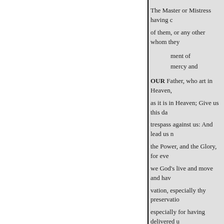The Master or Mistress having c of them, or any other whom they
ment of
mercy and
OUR Father, who art in Heaven, as it is in Heaven; Give us this da trespass against us: And lead us n the Power, and the Glory, for eve we God's live and move and hav vation, especially thy preservatio especially for having delivered u (that no disturbance hath come n brought in safety to the beginnin magnify thy glorious that notwit morning sacrifice of praise and t down in the grave, and rose agai